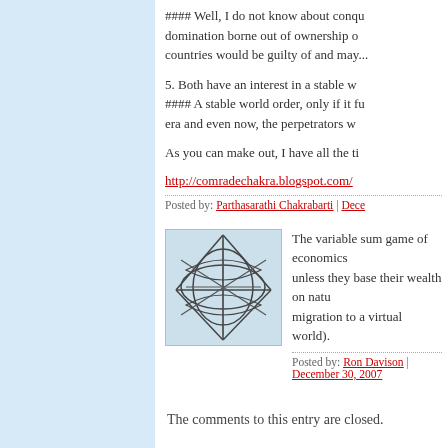#### Well, I do not know about conquest domination borne out of ownership of countries would be guilty of and may...
5. Both have an interest in a stable w... #### A stable world order, only if it fu... era and even now, the perpetrators w...
As you can make out, I have all the ti...
http://comradechakra.blogspot.com/
Posted by: Parthasarathi Chakrabarti | Dece...
[Figure (illustration): Avatar image with abstract geometric line pattern on light blue background]
The variable sum game of economics unless they base their wealth on natu... migration to a virtual world).
Posted by: Ron Davison | December 30, 2007
The comments to this entry are closed.